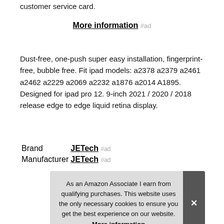customer service card.
More information #ad
Dust-free, one-push super easy installation, fingerprint-free, bubble free. Fit ipad models: a2378 a2379 a2461 a2462 a2229 a2069 a2232 a1876 a2014 A1895. Designed for ipad pro 12. 9-inch 2021 / 2020 / 2018 release edge to edge liquid retina display.
|  |  |
| --- | --- |
| Brand | JETech #ad |
| Manufacturer | JETech #ad |
As an Amazon Associate I earn from qualifying purchases. This website uses the only necessary cookies to ensure you get the best experience on our website. More information